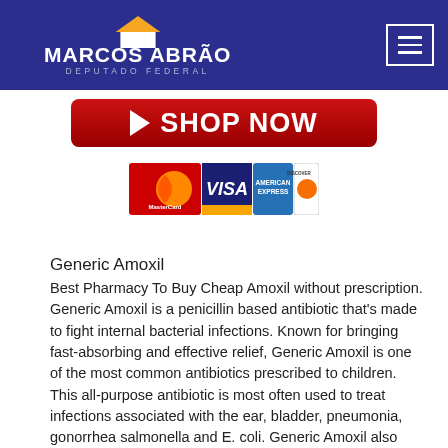MARCOS ABRÃO – DEPUTADO FEDERAL
[Figure (other): Red SHOP NOW button with white play arrow icon]
[Figure (other): Payment method logos: MasterCard, VISA, American Express, Discover]
Generic Amoxil
Best Pharmacy To Buy Cheap Amoxil without prescription. Generic Amoxil is a penicillin based antibiotic that's made to fight internal bacterial infections. Known for bringing fast-absorbing and effective relief, Generic Amoxil is one of the most common antibiotics prescribed to children. This all-purpose antibiotic is most often used to treat infections associated with the ear, bladder, pneumonia, gonorrhea salmonella and E. coli. Generic Amoxil also